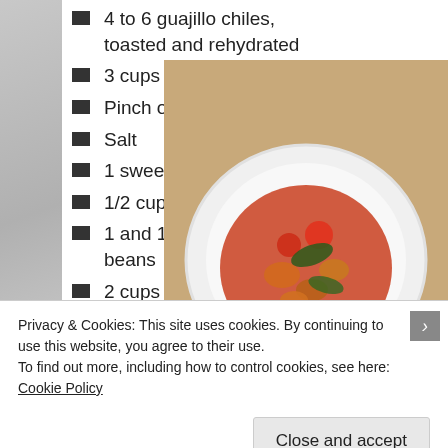4 to 6 guajillo chiles, toasted and rehydrated
3 cups of water
Pinch of cinnamon
Salt
1 sweet potato, cubed
1/2 cup of masa harina
1 and 1/2 cups of rinsed beans
2 cups of spinach
Puree chiles and water,
[Figure (photo): Overhead view of a white plate with bean soup containing tomatoes and dark greens, placed on a tan/beige board background]
Privacy & Cookies: This site uses cookies. By continuing to use this website, you agree to their use.
To find out more, including how to control cookies, see here: Cookie Policy
Close and accept